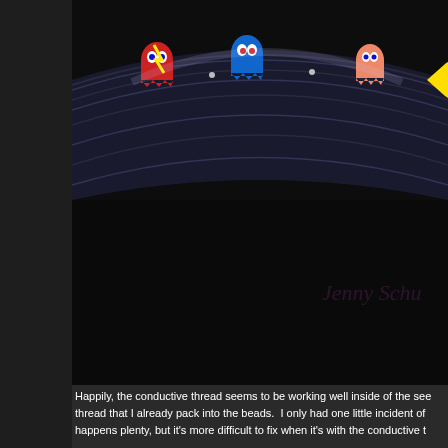[Figure (photo): A curved beaded bracelet or cuff decorated with Pac-Man arcade game characters including ghosts (blue, pink) and Pac-Man in yellow, on a dark black bead background, photographed against a dark surface with a purple handwritten signature overlay.]
Happily, the conductive thread seems to be working well inside of the see thread that I already pack into the beads.  I only had one little incident of happens plenty, but it's more difficult to fix when it's with the conductive t
[Figure (photo): A beaded vessel or cuff lit from within by a blue LED light, showing Pac-Man and ghost characters made from seed beads on a dark background, photographed at an angle showing the glowing light effect.]